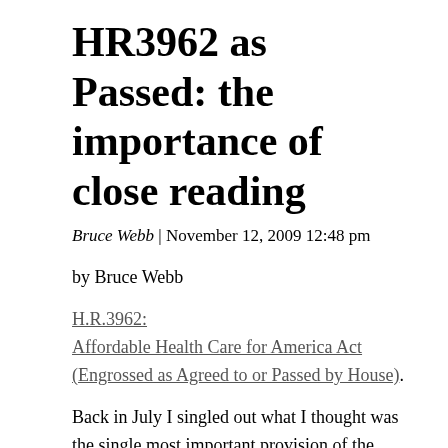HR3962 as Passed: the importance of close reading
Bruce Webb  |  November 12, 2009 12:48 pm
by Bruce Webb
H.R.3962: Affordable Health Care for America Act (Engrossed as Agreed to or Passed by House).
Back in July I singled out what I thought was the single most important provision of the House Tri-Committee Bill in a post called Sec 116: Golden